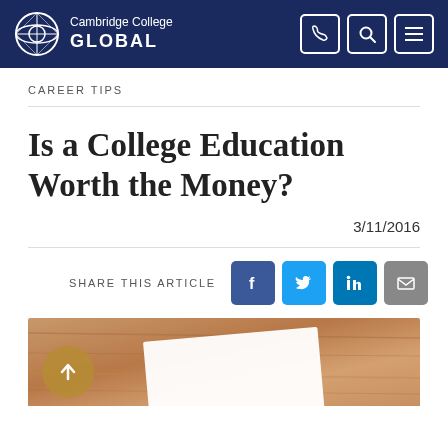Cambridge College GLOBAL
CAREER TIPS
Is a College Education Worth the Money?
3/11/2016
SHARE THIS ARTICLE
[Figure (photo): Photo of a diploma or certificate on a wooden surface, partially visible at the bottom of the page]